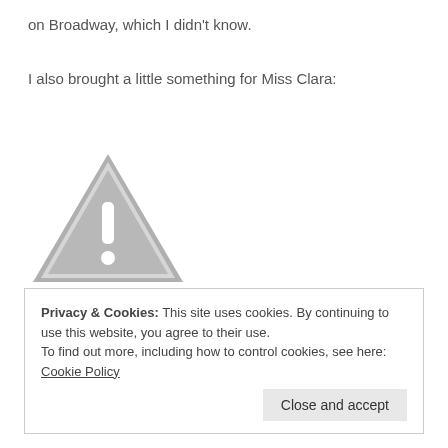on Broadway, which I didn't know.
I also brought a little something for Miss Clara:
[Figure (illustration): A grey warning triangle icon with an exclamation mark, indicating an image could not be loaded.]
Privacy & Cookies: This site uses cookies. By continuing to use this website, you agree to their use.
To find out more, including how to control cookies, see here: Cookie Policy
Close and accept